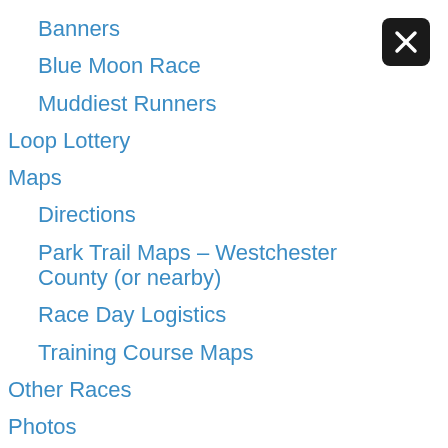Banners
Blue Moon Race
Muddiest Runners
Loop Lottery
Maps
Directions
Park Trail Maps – Westchester County (or nearby)
Race Day Logistics
Training Course Maps
Other Races
Photos
Raven Rocks Run
Registration
Current Registration